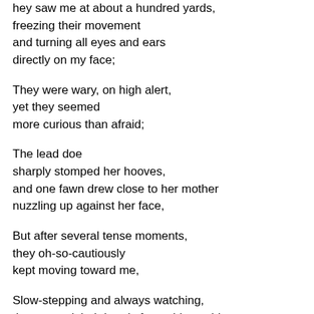hey saw me at about a hundred yards,
freezing their movement
and turning all eyes and ears
directly on my face;
They were wary, on high alert,
yet they seemed
more curious than afraid;
The lead doe
sharply stomped her hooves,
and one fawn drew close to her mother
nuzzling up against her face,
But after several tense moments,
they oh-so-cautiously
kept moving toward me,
Slow-stepping and always watching,
they moved their heads from side to side,
trying to get a better look
at this intruder in their woods;
Though somewhat chilled,